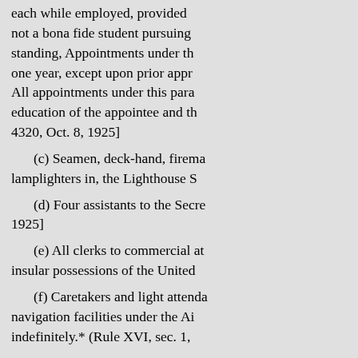each while employed, provided not a bona fide student pursuing standing, Appointments under th one year, except upon prior appr All appointments under this para education of the appointee and th 4320, Oct. 8, 1925]
(c) Seamen, deck-hand, firema lamplighters in, the Lighthouse S
(d) Four assistants to the Secre 1925]
(e) All clerks to commercial at insular possessions of the United
(f) Caretakers and light attenda navigation facilities under the Ai indefinitely.* (Rule XVI, sec. 1,
*For statutory citation, see not